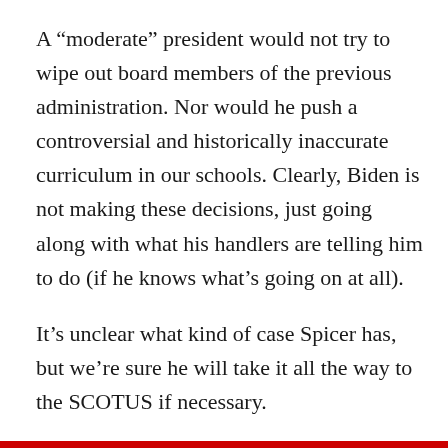A “moderate” president would not try to wipe out board members of the previous administration. Nor would he push a controversial and historically inaccurate curriculum in our schools. Clearly, Biden is not making these decisions, just going along with what his handlers are telling him to do (if he knows what’s going on at all).
It’s unclear what kind of case Spicer has, but we’re sure he will take it all the way to the SCOTUS if necessary.
Author: Timothy Jones